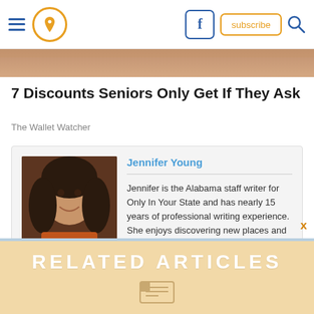Navigation bar with hamburger menu, location pin icon, Facebook button, subscribe button, search icon
[Figure (photo): Cropped hero image showing a person's skin/shoulder area in warm tones]
7 Discounts Seniors Only Get If They Ask
The Wallet Watcher
Jennifer Young
Jennifer is the Alabama staff writer for Only In Your State and has nearly 15 years of professional writing experience. She enjoys discovering new places and currently calls North Alabama home.
RELATED ARTICLES